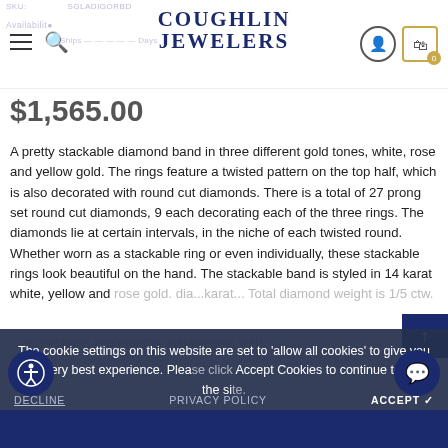Coughlin Jewelers — Navigation header with logo, hamburger menu, search, user and cart icons
$1,565.00
A pretty stackable diamond band in three different gold tones, white, rose and yellow gold. The rings feature a twisted pattern on the top half, which is also decorated with round cut diamonds. There is a total of 27 prong set round cut diamonds, 9 each decorating each of the three rings. The diamonds lie at certain intervals, in the niche of each twisted round. Whether worn as a stackable ring or even individually, these stackable rings look beautiful on the hand. The stackable band is styled in 14 karat white, yellow and rose gold. dia...
The cookie settings on this website are set to 'allow all cookies' to give you the very best experience. Please click Accept Cookies to continue to use the site.
DECLINE   PRIVACY POLICY   ACCEPT ✔